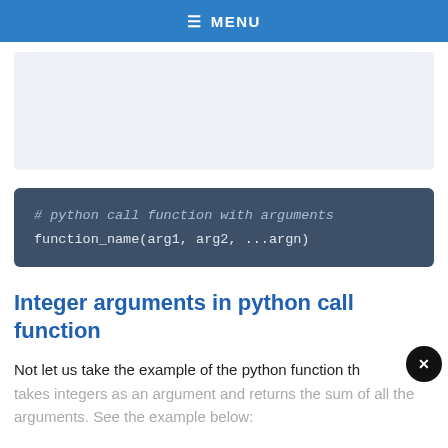≡ MENU
[Figure (other): Advertisement placeholder block with light blue-grey background]
Integer arguments in python call function
Not let us take the example of the python function that takes integers as an argument and returns the sum of all the arguments. See the example below: